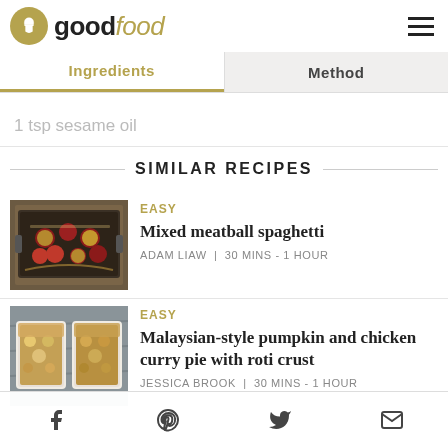goodfood
Ingredients | Method
1 tsp sesame oil
SIMILAR RECIPES
[Figure (photo): Mixed meatball spaghetti dish in a baking tray]
EASY
Mixed meatball spaghetti
ADAM LIAW  |  30 mins - 1 hour
[Figure (photo): Malaysian-style pumpkin and chicken curry pie with roti crust in two white dishes]
EASY
Malaysian-style pumpkin and chicken curry pie with roti crust
JESSICA BROOK  |  30 mins - 1 hour
[Figure (photo): Partial view of third recipe]
EASY
Creamy tomato one-pot chicken